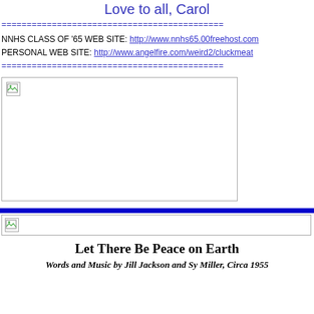Love to all, Carol
============================================
NNHS CLASS OF '65 WEB SITE: http://www.nnhs65.00freehost.com
PERSONAL WEB SITE: http://www.angelfire.com/weird2/cluckmeat
============================================
[Figure (photo): Broken/missing image placeholder with border]
[Figure (photo): Blue horizontal bar separator]
[Figure (photo): Broken/missing image placeholder (small, banner-sized)]
Let There Be Peace on Earth
Words and Music by Jill Jackson and Sy Miller, Circa 1955